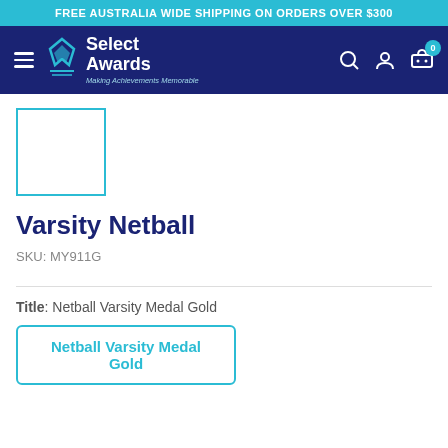FREE AUSTRALIA WIDE SHIPPING ON ORDERS OVER $300
[Figure (logo): Select Awards logo with hamburger menu and navigation icons]
[Figure (photo): Product thumbnail placeholder with teal border]
Varsity Netball
SKU: MY911G
Title: Netball Varsity Medal Gold
Netball Varsity Medal Gold